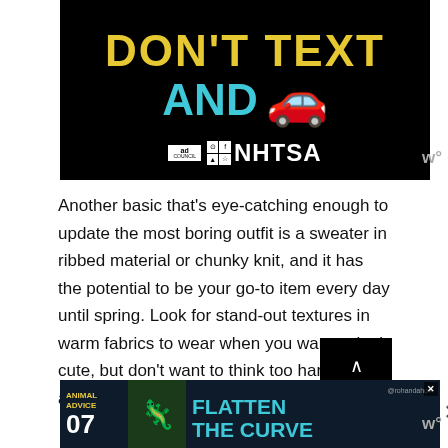[Figure (infographic): Anti-texting and driving PSA banner with black background. Yellow bold text 'DON'T TEXT' on top, cyan bold text 'AND' with red car emoji, and white Ad Council + NHTSA logos at bottom.]
Another basic that's eye-catching enough to update the most boring outfit is a sweater in ribbed material or chunky knit, and it has the potential to be your go-to item every day until spring. Look for stand-out textures in warm fabrics to wear when you want to look cute, but don't want to think too hard think about it.
[Figure (infographic): Advertisement banner: Animal Advice 07 Flatten the Curve with teal and dark blue background, @rohandaho social handle visible.]